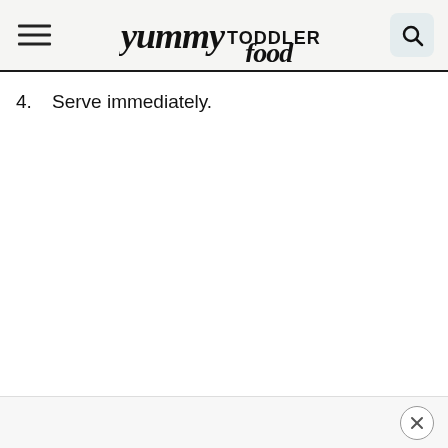yummy TODDLER food
4.  Serve immediately.